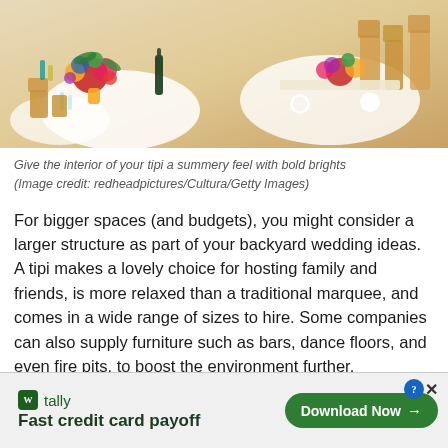[Figure (photo): Wedding reception table setting inside a tipi with colorful floral centerpieces and wooden folding chairs]
Give the interior of your tipi a summery feel with bold brights
(Image credit: redheadpictures/Cultura/Getty Images)
For bigger spaces (and budgets), you might consider a larger structure as part of your backyard wedding ideas. A tipi makes a lovely choice for hosting family and friends, is more relaxed than a traditional marquee, and comes in a wide range of sizes to hire. Some companies can also supply furniture such as bars, dance floors, and even fire pits, to boost the environment further.
[Figure (other): Advertisement banner for Tally app: Fast credit card payoff with Download Now button]